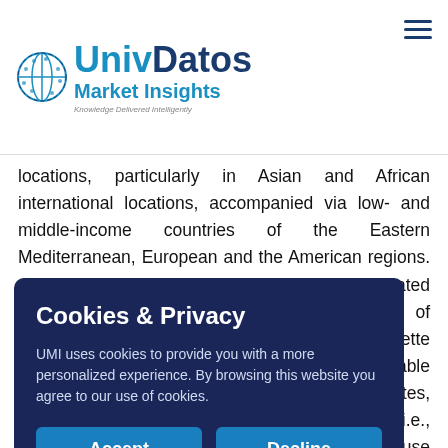UnivDatos Market Insights
locations, particularly in Asian and African international locations, accompanied via low- and middle-income countries of the Eastern Mediterranean, European and the American regions. Also, an increase in smoking habits is highly related to growth within the range of
CDC, cigarette of preventable United States, very year, (i.e., rise in the use d due to the s consisting of with smoking
[Figure (screenshot): Cookies & Privacy modal overlay with dark navy background. Title: 'Cookies & Privacy'. Body text: 'UMI uses cookies to provide you with a more personalized experience. By browsing this website you agree to our use of cookies.' Two buttons: Accept and Decline.]